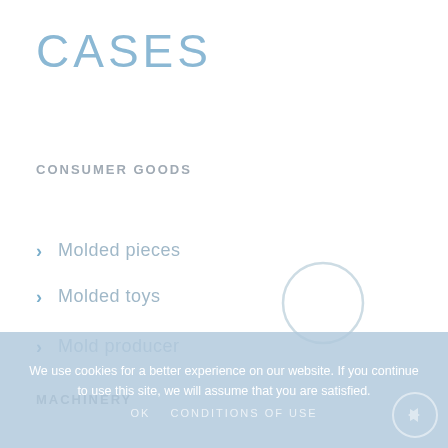CASES
CONSUMER GOODS
Molded pieces
Molded toys
MACHINERY
Mold producer
We use cookies for a better experience on our website. If you continue to use this site, we will assume that you are satisfied.
OK  CONDITIONS OF USE